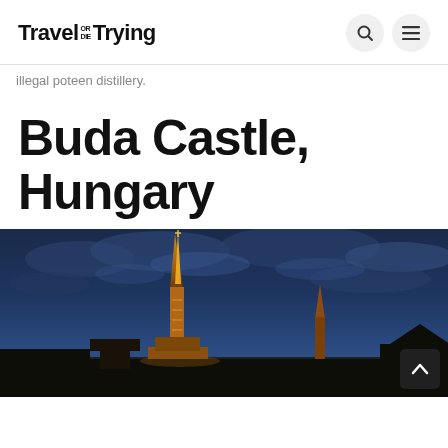Travel OR DIE Trying
illegal poteen distillery.
Buda Castle, Hungary
[Figure (photo): Photo of Buda Castle in Hungary at dusk/night with dramatic blue cloudy sky and illuminated church spire in the foreground]